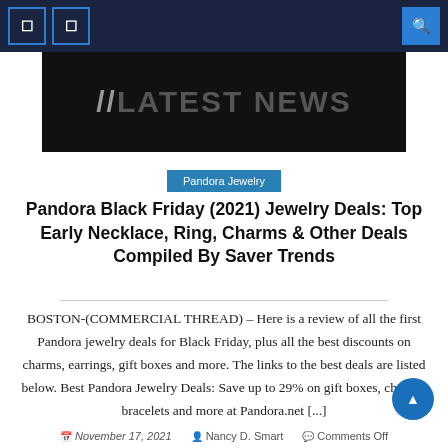Navigation bar with icons and search
[Figure (screenshot): Dark banner with text //LATEST NEWS in gray on black background]
Pandora Jewelry
Pandora Black Friday (2021) Jewelry Deals: Top Early Necklace, Ring, Charms & Other Deals Compiled By Saver Trends
BOSTON-(COMMERCIAL THREAD) – Here is a review of all the first Pandora jewelry deals for Black Friday, plus all the best discounts on charms, earrings, gift boxes and more. The links to the best deals are listed below. Best Pandora Jewelry Deals: Save up to 29% on gift boxes, charms, bracelets and more at Pandora.net [...]
November 17, 2021   Nancy D. Smart   Comments Off